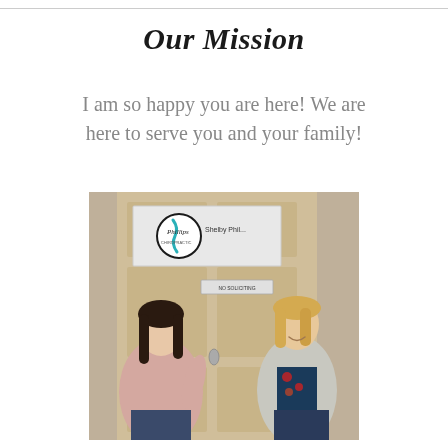Our Mission
I am so happy you are here! We are here to serve you and your family!
[Figure (photo): Two women standing in front of a door with a Phillips Chiropractic sign. A brunette woman on the left in a pink top and a blonde woman on the right in a floral top and grey cardigan, both smiling. A 'NO SOLICITING' sign is visible on the door.]